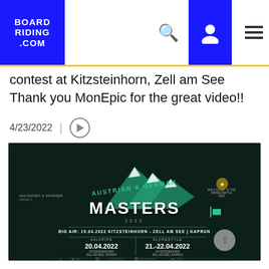BOARD RIDING .COM
contest at Kitzsteinhorn, Zell am See Thank you MonEpic for the great video!!
4/23/2022
[Figure (photo): Austrian & German Masters 2022 event poster on dark background. Shows mountain graphic with text: 'Austrian & German Masters 2022', 'BIG AIR: 19.04.2022 KITZSTEINHORN - ZELL AM SEE | KAPRUN', 'HALFPIPE: 20.04.2022 KITZSTEINHORN ZELL AM SEE | KAPRUN', 'SLOPESTYLE: 21.-22.04.2022 KITZSTEINHORN ZELL AM SEE | KAPRUN'. Sponsor logos at bottom.]